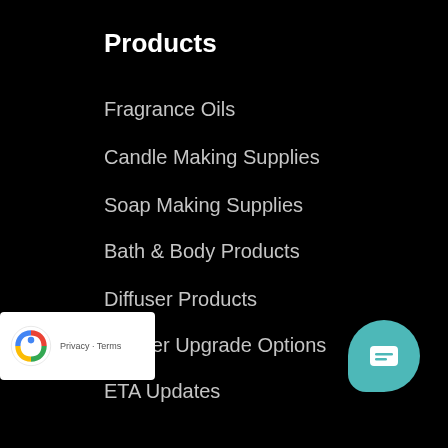Products
Fragrance Oils
Candle Making Supplies
Soap Making Supplies
Bath & Body Products
Diffuser Products
Courier Upgrade Options
ETA Updates
Knowledge
Candle Making Tutorials
Candle Safety
Soap Making Tutorials